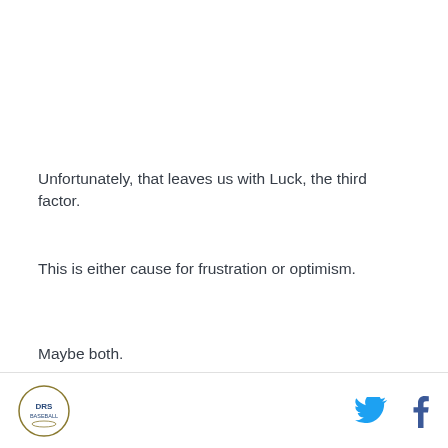Unfortunately, that leaves us with Luck, the third factor.
This is either cause for frustration or optimism.
Maybe both.
As Jason Collette noted for The Process Report, during his time in the majors, Hellickson's .265 batting average on balls in play is in the top 10th percentile for 2010-2013.
Helly has demonstrated over his career an ability to keep his in-play batting average low. It's a reasonable
DRB logo | Twitter icon | Facebook icon